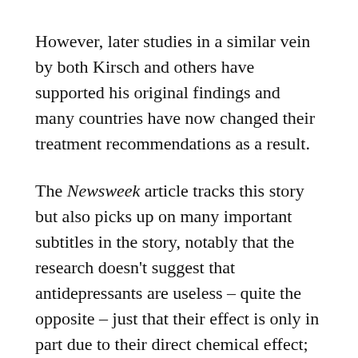However, later studies in a similar vein by both Kirsch and others have supported his original findings and many countries have now changed their treatment recommendations as a result.
The Newsweek article tracks this story but also picks up on many important subtitles in the story, notably that the research doesn't suggest that antidepressants are useless – quite the opposite – just that their effect is only in part due to their direct chemical effect; and that many patients in trials work out that they're not taking placebo because of the side-effects and this realisation can trigger a